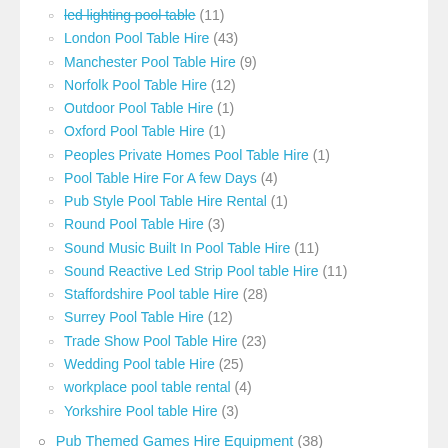led lighting pool table (11)
London Pool Table Hire (43)
Manchester Pool Table Hire (9)
Norfolk Pool Table Hire (12)
Outdoor Pool Table Hire (1)
Oxford Pool Table Hire (1)
Peoples Private Homes Pool Table Hire (1)
Pool Table Hire For A few Days (4)
Pub Style Pool Table Hire Rental (1)
Round Pool Table Hire (3)
Sound Music Built In Pool Table Hire (11)
Sound Reactive Led Strip Pool table Hire (11)
Staffordshire Pool table Hire (28)
Surrey Pool Table Hire (12)
Trade Show Pool Table Hire (23)
Wedding Pool table Hire (25)
workplace pool table rental (4)
Yorkshire Pool table Hire (3)
Pub Themed Games Hire Equipment (38)